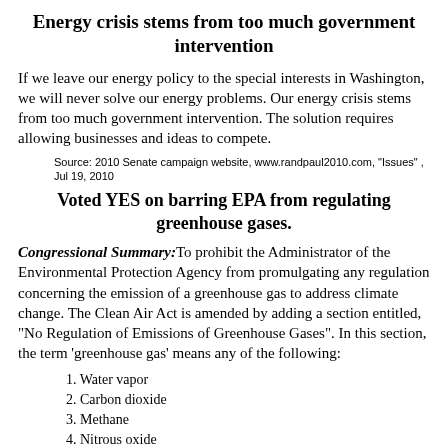Energy crisis stems from too much government intervention
If we leave our energy policy to the special interests in Washington, we will never solve our energy problems. Our energy crisis stems from too much government intervention. The solution requires allowing businesses and ideas to compete.
Source: 2010 Senate campaign website, www.randpaul2010.com, "Issues" , Jul 19, 2010
Voted YES on barring EPA from regulating greenhouse gases.
Congressional Summary: To prohibit the Administrator of the Environmental Protection Agency from promulgating any regulation concerning the emission of a greenhouse gas to address climate change. The Clean Air Act is amended by adding a section entitled, "No Regulation of Emissions of Greenhouse Gases". In this section, the term 'greenhouse gas' means any of the following:
1. Water vapor
2. Carbon dioxide
3. Methane
4. Nitrous oxide
5. Sulfur hexafluoride
6. Hydrofluorocarbons